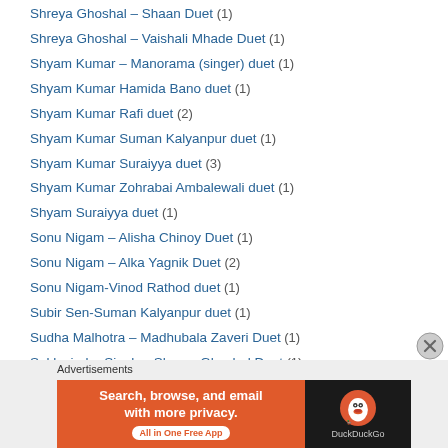Shreya Ghoshal – Shaan Duet (1)
Shreya Ghoshal – Vaishali Mhade Duet (1)
Shyam Kumar – Manorama (singer) duet (1)
Shyam Kumar Hamida Bano duet (1)
Shyam Kumar Rafi duet (2)
Shyam Kumar Suman Kalyanpur duet (1)
Shyam Kumar Suraiyya duet (3)
Shyam Kumar Zohrabai Ambalewali duet (1)
Shyam Suraiyya duet (1)
Sonu Nigam – Alisha Chinoy Duet (1)
Sonu Nigam – Alka Yagnik Duet (2)
Sonu Nigam-Vinod Rathod duet (1)
Subir Sen-Suman Kalyanpur duet (1)
Sudha Malhotra – Madhubala Zaveri Duet (1)
Sukhwinder Singh – Shreya Ghoshal Duet (1)
Sulochana Kadam-Madhubala Jhavery duet (1)
[Figure (infographic): DuckDuckGo advertisement banner: orange background with text 'Search, browse, and email with more privacy. All in One Free App' and DuckDuckGo logo on dark background.]